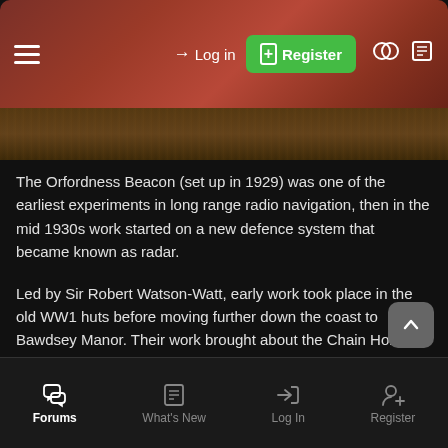≡  → Log in  ⊞ Register
[Figure (screenshot): Dark banner/header image area]
The Orfordness Beacon (set up in 1929) was one of the earliest experiments in long range radio navigation, then in the mid 1930s work started on a new defence system that became known as radar.
Led by Sir Robert Watson-Watt, early work took place in the old WW1 huts before moving further down the coast to Bawdsey Manor. Their work brought about the Chain Home network, instrumental in overcoming the German threat from the air.
Second World War
Though the airfield was not used, the Aeronautical Armament
Forums  What's New  Log In  Register